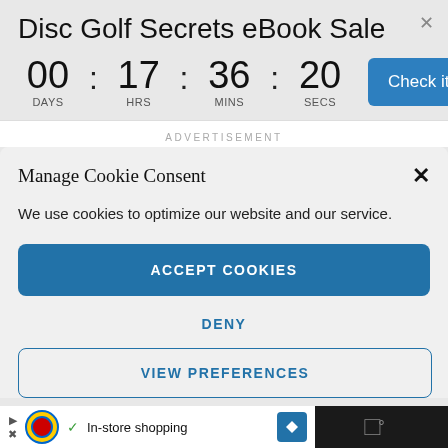Disc Golf Secrets eBook Sale
00 : 17 : 36 : 20   DAYS  HRS  MINS  SECS
Check it out
ADVERTISEMENT
Manage Cookie Consent
We use cookies to optimize our website and our service.
ACCEPT COOKIES
DENY
VIEW PREFERENCES
In-store shopping